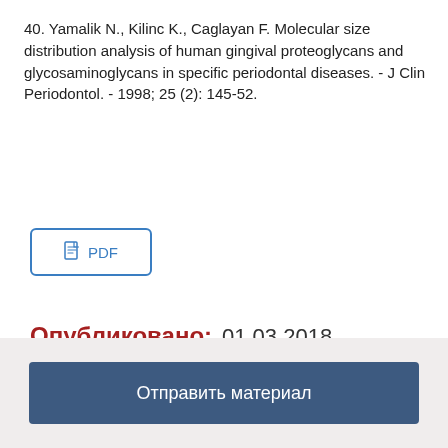40. Yamalik N., Kilinc K., Caglayan F. Molecular size distribution analysis of human gingival proteoglycans and glycosaminoglycans in specific periodontal diseases. - J Clin Periodontol. - 1998; 25 (2): 145-52.
[Figure (other): PDF download button with document icon and text 'PDF']
Опубликовано: 01.03.2018
Отправить материал